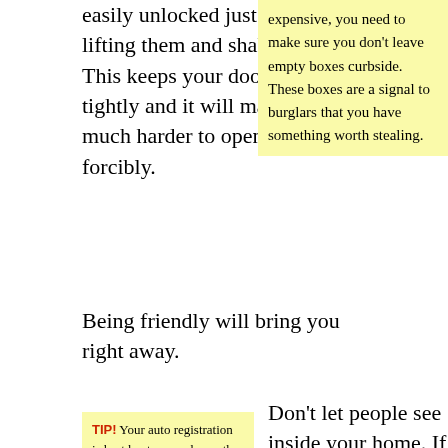easily unlocked just by lifting them and shaking. This keeps your door shut tightly and it will make it much harder to open forcibly.
expensive, you need to make sure you don't leave empty boxes curbside. These boxes are a signal to burglars that you have something worth stealing.
Being friendly will bring you right away.
TIP! Your auto registration is best kept somewhere other than your glove compartment. If someone breaks into
Don't let people see inside your home. If you're able to see your computer or television, then surely a thief can also see it as well. Consider putting up drapes